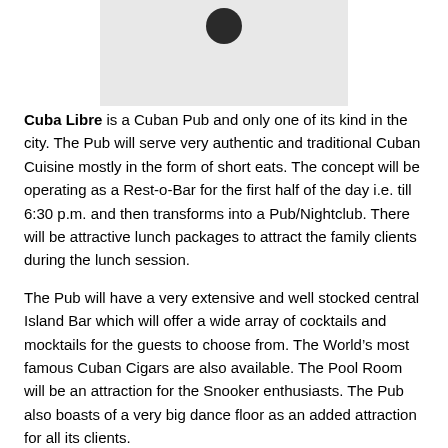[Figure (logo): Partial logo image visible at top center, dark circular element on light grey background]
Cuba Libre is a Cuban Pub and only one of its kind in the city. The Pub will serve very authentic and traditional Cuban Cuisine mostly in the form of short eats. The concept will be operating as a Rest-o-Bar for the first half of the day i.e. till 6:30 p.m. and then transforms into a Pub/Nightclub. There will be attractive lunch packages to attract the family clients during the lunch session.
The Pub will have a very extensive and well stocked central Island Bar which will offer a wide array of cocktails and mocktails for the guests to choose from. The World’s most famous Cuban Cigars are also available. The Pool Room will be an attraction for the Snooker enthusiasts. The Pub also boasts of a very big dance floor as an added attraction for all its clients.